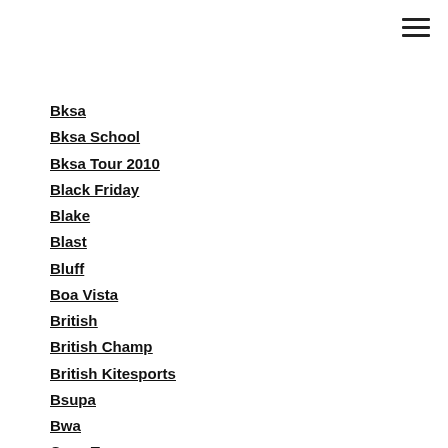Bksa
Bksa School
Bksa Tour 2010
Black Friday
Blake
Blast
Bluff
Boa Vista
British
British Champ
British Kitesports
Bsupa
Bwa
Cape Town
Cape Town Kite Club
Cape Verde
Champion